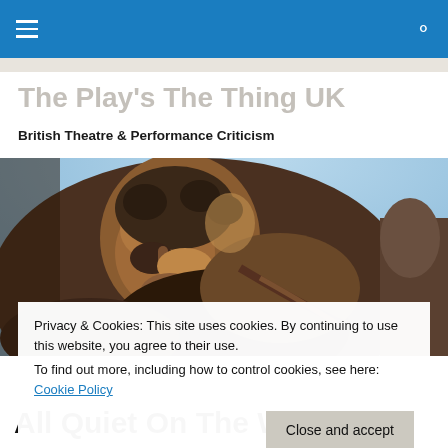The Play's The Thing UK — British Theatre & Performance Criticism
The Play's The Thing UK
British Theatre & Performance Criticism
[Figure (photo): Close-up of a bronze statue of a reclining or hunching male figure, face downturned, with curly hair and draped clothing, set against a light blue sky background.]
Privacy & Cookies: This site uses cookies. By continuing to use this website, you agree to their use.
To find out more, including how to control cookies, see here: Cookie Policy
Close and accept
All Quiet On The Western